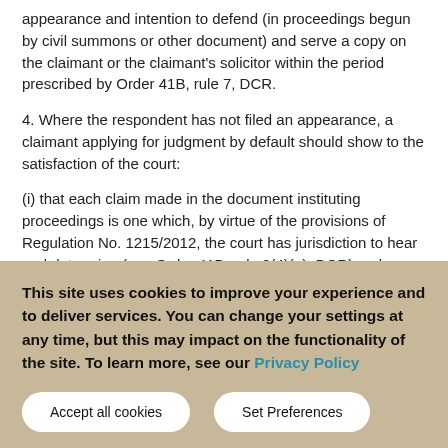appearance and intention to defend (in proceedings begun by civil summons or other document) and serve a copy on the claimant or the claimant's solicitor within the period prescribed by Order 41B, rule 7, DCR.
4. Where the respondent has not filed an appearance, a claimant applying for judgment by default should show to the satisfaction of the court:
(i) that each claim made in the document instituting proceedings is one which, by virtue of the provisions of Regulation No. 1215/2012, the court has jurisdiction to hear and determine (see Order 41B, rule 8(4)(a), DCR) and
This site uses cookies to improve your experience and to deliver services. You can change your settings at any time, but this may impact on the functionality of the site. To learn more, see our Privacy Policy